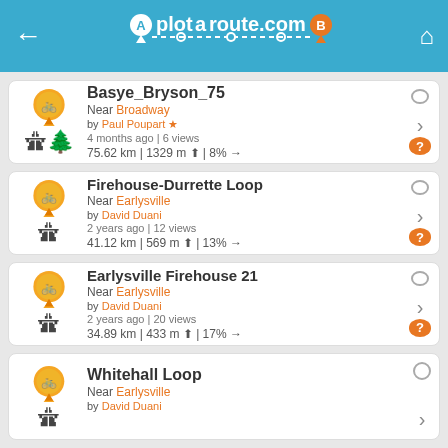plotaroute.com
Basye_Bryson_75 | Near Broadway | by Paul Poupart | 4 months ago | 6 views | 75.62 km | 1329 m | 8%
Firehouse-Durrette Loop | Near Earlysville | by David Duani | 2 years ago | 12 views | 41.12 km | 569 m | 13%
Earlysville Firehouse 21 | Near Earlysville | by David Duani | 2 years ago | 20 views | 34.89 km | 433 m | 17%
Whitehall Loop | Near Earlysville | by David Duani